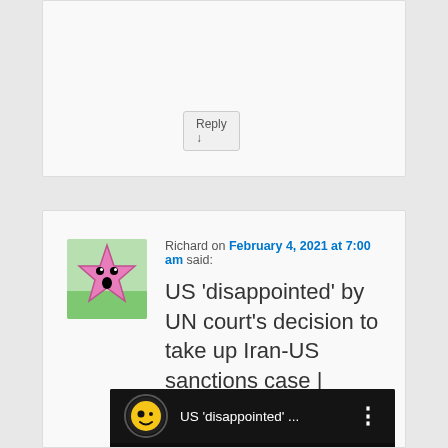Reply ↓
Richard on February 4, 2021 at 7:00 am said:
US 'disappointed' by UN court's decision to take up Iran-US sanctions case | World News
[Figure (screenshot): YouTube video thumbnail showing a man in a white seat with a black eye mask, with a YouTube-style top bar showing 'US disappointed ...' title and three-dot menu icon, and a circular yellow smiley face avatar]